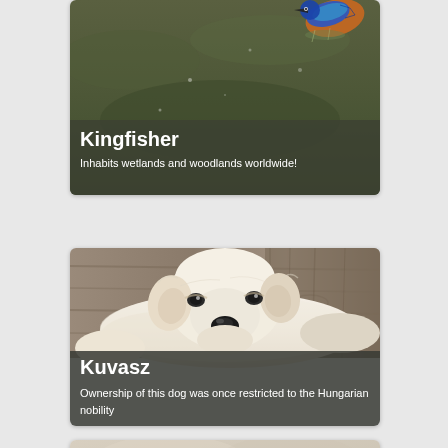[Figure (photo): Card showing a Kingfisher bird photo with dark olive banner overlay reading 'Kingfisher' and subtitle 'Inhabits wetlands and woodlands worldwide!']
[Figure (photo): Card showing a fluffy white Kuvasz dog puppy lying down against wooden background, with dark gray banner overlay reading 'Kuvasz' and subtitle 'Ownership of this dog was once restricted to the Hungarian nobility']
[Figure (photo): Partial third animal card visible at very bottom of page, mostly cropped]